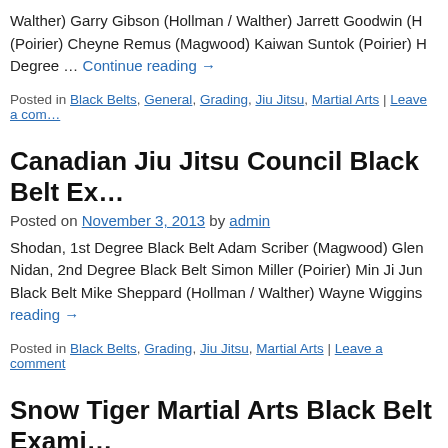Walther) Garry Gibson (Hollman / Walther) Jarrett Goodwin (H… (Poirier) Cheyne Remus (Magwood) Kaiwan Suntok (Poirier) H… Degree … Continue reading →
Posted in Black Belts, General, Grading, Jiu Jitsu, Martial Arts | Leave a com…
Canadian Jiu Jitsu Council Black Belt Ex…
Posted on November 3, 2013 by admin
Shodan, 1st Degree Black Belt Adam Scriber (Magwood) Glen… Nidan, 2nd Degree Black Belt Simon Miller (Poirier) Min Ji Jun… Black Belt Mike Sheppard (Hollman / Walther) Wayne Wiggins… reading →
Posted in Black Belts, Grading, Jiu Jitsu, Martial Arts | Leave a comment
Snow Tiger Martial Arts Black Belt Exami…
Posted on August 17, 2013 by admin